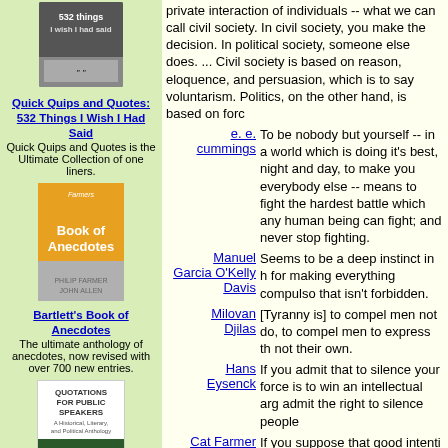[Figure (illustration): Book cover: Quick Quips and Quotes: 532 Things I Wish I Had Said]
Quick Quips and Quotes: 532 Things I Wish I Had Said
Quick Quips and Quotes is the Ultimate Collection of one liners.
[Figure (illustration): Book cover: Bartlett's Book of Anecdotes]
Bartlett's Book of Anecdotes
The ultimate anthology of anecdotes, now revised with over 700 new entries.
[Figure (illustration): Book cover: Quotations for Public Speakers]
Quotations for Public Speakers
A Historical, Literary, and Political Anthology
[Figure (illustration): Book cover: Liberty! (PBS Home Video)]
private interaction of individuals -- what we can call civil society. In civil society, you make the decision. In political society, someone else does. ... Civil society is based on reason, eloquence, and persuasion, which is to say voluntarism. Politics, on the other hand, is based on forc
e. e. cummings
To be nobody but yourself -- in a world which is doing it's best, night and day, to make you everybody else -- means to fight the hardest battle which any human being can fight; and never stop fighting.
Manuel Garcia O'Kelly Davis
Seems to be a deep instinct in human beings for making everything compulsory that isn't forbidden.
Milovan Djilas
[Tyranny is] to compel men not to do, to compel men to express thoughts not their own.
Hans Eysenck
If you admit that to silence your opponents by force is to win an intellectual argument, you admit the right to silence people by force.
Cat Farmer
If you suppose that good intentions justify intruding on the lives and property of your fellow citizens: Do you appreciate being the target of somebody else's good intentions? haven't you had that particular experience yet?
Milton
Political freedom means the abs